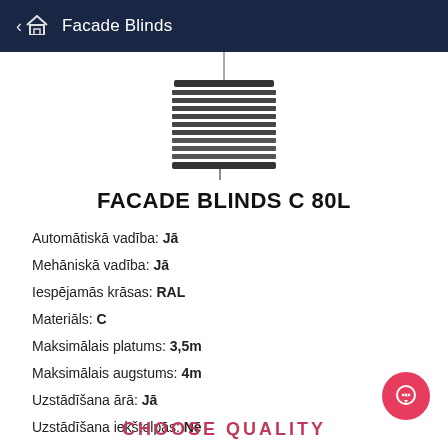Facade Blinds
[Figure (illustration): Illustration of facade blinds / venetian blind product showing horizontal slats with suspension cords]
FACADE BLINDS C 80L
Automātiskā vadība: Jā
Mehāniskā vadība: Jā
Iespējamās krāsas: RAL
Materiāls: C
Maksimālais platums: 3,5m
Maksimālais augstums: 4m
Uzstādīšana ārā: Jā
Uzstādīšana iekštelpās: Nē
CHOOSE QUALITY